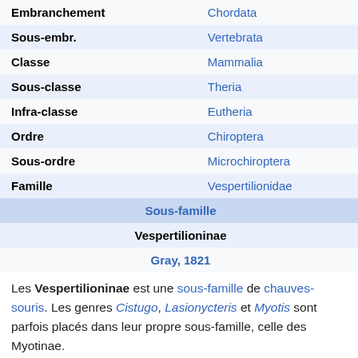| Label | Value |
| --- | --- |
| Embranchement | Chordata |
| Sous-embr. | Vertebrata |
| Classe | Mammalia |
| Sous-classe | Theria |
| Infra-classe | Eutheria |
| Ordre | Chiroptera |
| Sous-ordre | Microchiroptera |
| Famille | Vespertilionidae |
| Sous-famille |  |
|  | Vespertilioninae Gray, 1821 |
Les Vespertilioninae est une sous-famille de chauves-souris. Les genres Cistugo, Lasionycteris et Myotis sont parfois placés dans leur propre sous-famille, celle des Myotinae.
Liste des genres